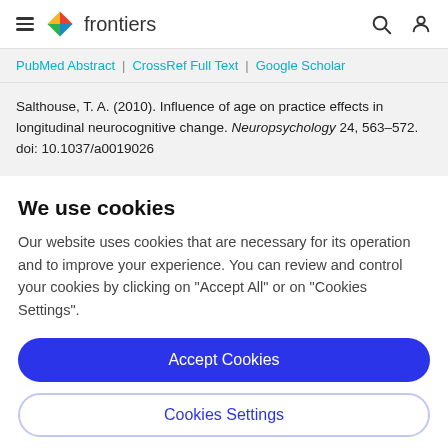frontiers
PubMed Abstract | CrossRef Full Text | Google Scholar
Salthouse, T. A. (2010). Influence of age on practice effects in longitudinal neurocognitive change. Neuropsychology 24, 563–572. doi: 10.1037/a0019026
We use cookies
Our website uses cookies that are necessary for its operation and to improve your experience. You can review and control your cookies by clicking on "Accept All" or on "Cookies Settings".
Accept Cookies
Cookies Settings